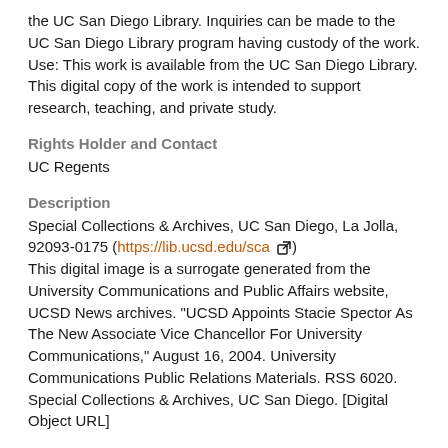the UC San Diego Library. Inquiries can be made to the UC San Diego Library program having custody of the work.
Use: This work is available from the UC San Diego Library. This digital copy of the work is intended to support research, teaching, and private study.
Rights Holder and Contact
UC Regents
Description
Special Collections & Archives, UC San Diego, La Jolla, 92093-0175 (https://lib.ucsd.edu/sca)
This digital image is a surrogate generated from the University Communications and Public Affairs website, UCSD News archives. "UCSD Appoints Stacie Spector As The New Associate Vice Chancellor For University Communications," August 16, 2004. University Communications Public Relations Materials. RSS 6020. Special Collections & Archives, UC San Diego. [Digital Object URL]
Type
text
Format